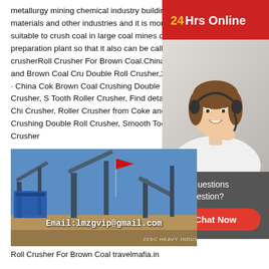metallurgy mining chemical industry building materials and other industries and it is more suitable to crush coal in large coal mines or coal preparation plant so that it also can be called coal crusherRoll Crusher For Brown Coal.China Coke and Brown Coal Crushing Double Roll Crusher,2022-3-14 · China Coke and Brown Coal Crushing Double Roll Crusher, Smooth Tooth Roller Crusher, Find details about China Crusher, Roller Crusher from Coke and Brown Coal Crushing Double Roll Crusher, Smooth Tooth Roller Crusher
[Figure (photo): Customer service agent / online support representative photo with headset, overlaid on red '24Hrs Online' banner]
Need questions & suggestion?
Chat Now
[Figure (photo): Industrial coal crushing facility / roll crusher equipment outdoors under blue sky with a red flag, with email overlay 'Email:lmzgvip@gmail.com' and watermark 'JXSC HEAVY INDUSTRO']
Roll Crusher For Brown Coal travelmafia.in